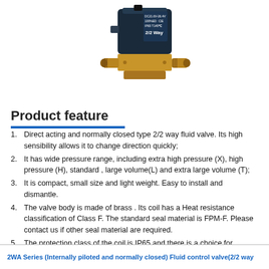[Figure (photo): A 2/2 way solenoid fluid control valve with a dark blue electromagnetic coil on top marked DC21.6V-26.4V, 100%ED, IP65, T145°C, 2/2 Way, and a brass valve body below.]
Product feature
Direct acting and normally closed type 2/2 way fluid valve. Its high sensibility allows it to change direction quickly;
It has wide pressure range, including extra high pressure (X), high pressure (H), standard , large volume(L) and extra large volume (T);
It is compact, small size and light weight. Easy to install and dismantle.
The valve body is made of brass . Its coil has a Heat resistance classification of Class F. The standard seal material is FPM-F. Please contact us if other seal material are required.
The protection class of the coil is IP65 and there is a choice for grommet or terminal electrical entry .
2WA Series (Internally piloted and normally closed) Fluid control valve(2/2 way